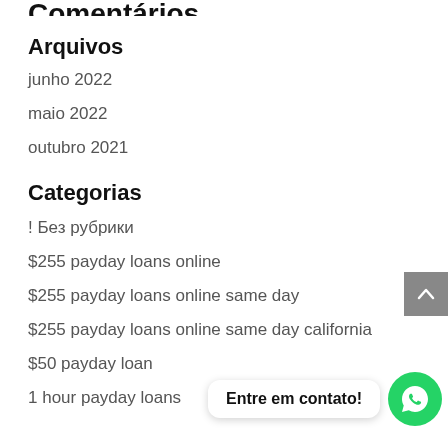Comentários
Arquivos
junho 2022
maio 2022
outubro 2021
Categorias
! Без рубрики
$255 payday loans online
$255 payday loans online same day
$255 payday loans online same day california
$50 payday loan
1 hour payday loans
Entre em contato!